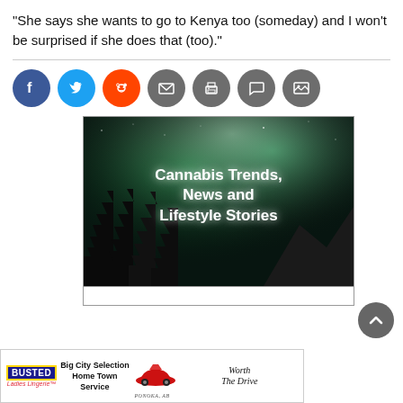“She says she wants to go to Kenya too (someday) and I won’t be surprised if she does that (too).”
[Figure (infographic): Social sharing icons: Facebook (blue), Twitter (cyan), Reddit (orange), Email (grey), Print (grey), Comment (grey), Image (grey)]
[Figure (photo): Advertisement banner showing aurora borealis night sky with pine tree silhouettes and text: Cannabis Trends, News and Lifestyle Stories]
[Figure (infographic): Advertisement for Busted Ladies Lingerie with text: Big City Selection Home Town Service, Worth The Drive, PONOKA, AB, featuring a red vintage car illustration]